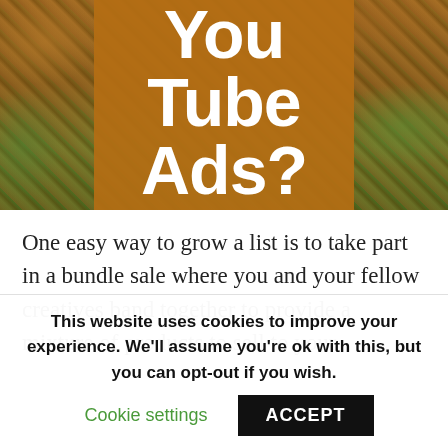[Figure (photo): Hero image showing autumn leaves on grass with an orange/brown overlay banner displaying 'YouTube Ads?' in large white bold text]
One easy way to grow a list is to take part in a bundle sale where you and your fellow creatives band together to provide a mixture of products to sell to your
This website uses cookies to improve your experience. We'll assume you're ok with this, but you can opt-out if you wish.
Cookie settings   ACCEPT